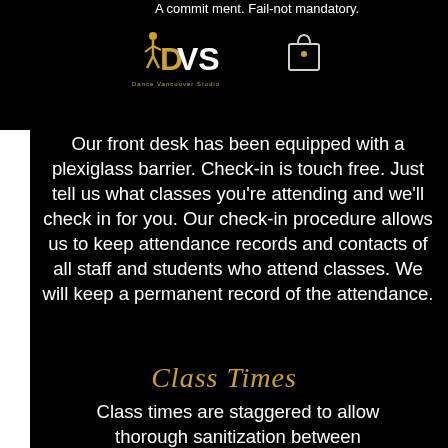A commitment. Fail-not mandatory.
[Figure (logo): DVS Dance Vancouver Studio gold logo with dancer silhouette]
Our front desk has been equipped with a plexiglass barrier. Check-in is touch free. Just tell us what classes you're attending and we'll check in for you. Our check-in procedure allows us to keep attendance records and contacts of all staff and students who attend classes. We will keep a permanent record of the attendance.
Class Times
Class times are staggered to allow thorough sanitization between